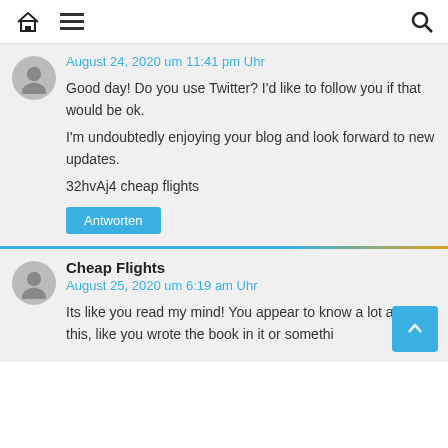Home menu search
August 24, 2020 um 11:41 pm Uhr
Good day! Do you use Twitter? I'd like to follow you if that would be ok.
I'm undoubtedly enjoying your blog and look forward to new updates.
32hvAj4 cheap flights
Antworten
Cheap Flights
August 25, 2020 um 6:19 am Uhr
Its like you read my mind! You appear to know a lot about this, like you wrote the book in it or somethi